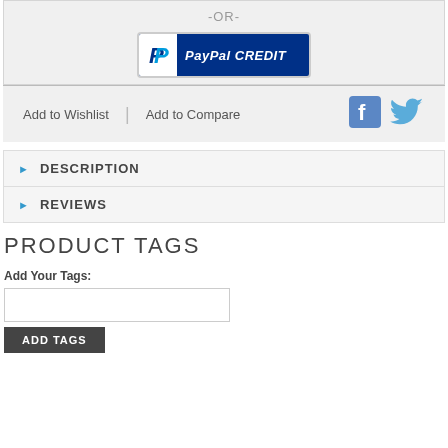-OR-
[Figure (logo): PayPal CREDIT button logo]
Add to Wishlist | Add to Compare
[Figure (logo): Facebook icon]
[Figure (logo): Twitter icon]
DESCRIPTION
REVIEWS
PRODUCT TAGS
Add Your Tags:
ADD TAGS